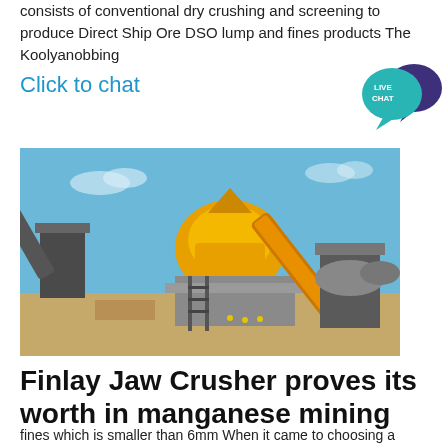consists of conventional dry crushing and screening to produce Direct Ship Ore DSO lump and fines products The Koolyanobbing
Click to chat
[Figure (photo): Outdoor mining site with yellow jaw crusher and conveyor belt equipment mounted on concrete foundation, blue sky background]
Finlay Jaw Crusher proves its worth in manganese mining
fines which is smaller than 6mm When it came to choosing a mobile crusher Sebilo